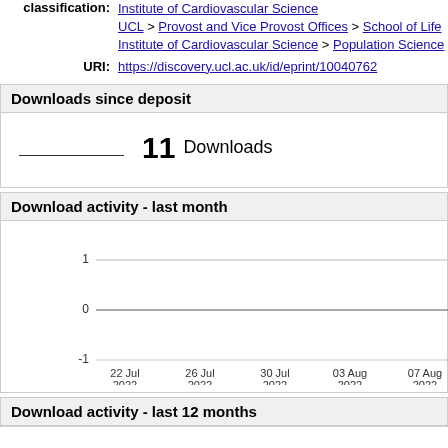classification: Institute of Cardiovascular Science UCL > Provost and Vice Provost Offices > School of Life Institute of Cardiovascular Science > Population Science
URI: https://discovery.ucl.ac.uk/id/eprint/10040762
Downloads since deposit
11 Downloads
Download activity - last month
[Figure (line-chart): Download activity - last month]
Download activity - last 12 months